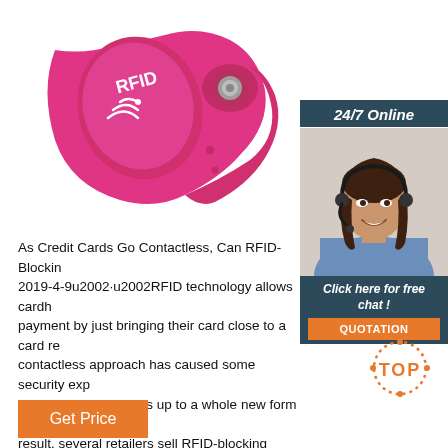[Figure (photo): Pink RFID silicone wristband with RFID logo and snap button closure]
[Figure (photo): Dark teal box with '24/7 Online' label and customer service representative with headset smiling, with 'Click here for free chat!' text and QUOTATION button]
As Credit Cards Go Contactless, Can RFID-Blocking... 2019-4-9u2002·u2002RFID technology allows cardh... payment by just bringing their card close to a card re... contactless approach has caused some security exp... also opens consumers up to a whole new form of identity theft. As a result, several retailers sell RFID-blocking wallets, claiming they can keep your card information safe ...
[Figure (other): TOP button with orange dotted circle and orange TOP text]
Get Price